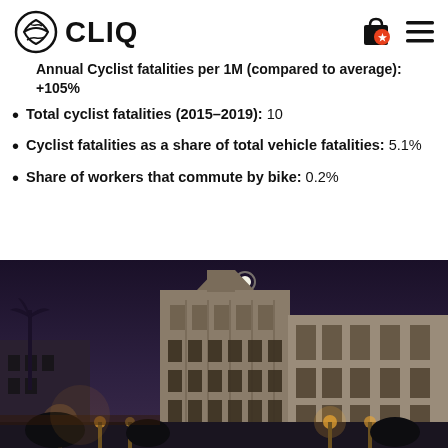CLIQ
Annual Cyclist fatalities per 1M (compared to average): +105%
Total cyclist fatalities (2015-2019): 10
Cyclist fatalities as a share of total vehicle fatalities: 5.1%
Share of workers that commute by bike: 0.2%
[Figure (photo): Night photo of a city street with art deco buildings, street lights, and a moon visible in the dark sky above the buildings.]